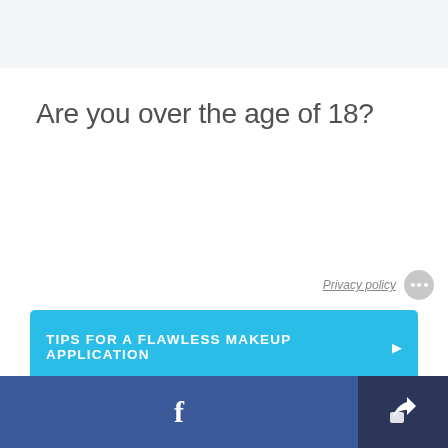Are you over the age of 18?
Privacy policy
TIPS FOR A FLAWLESS MAKEUP APPLICATION ▶
f  [Facebook share button] [Share icon button]